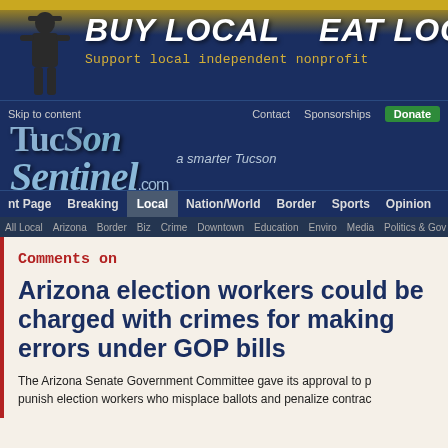[Figure (screenshot): TucsonSentinel.com website banner with BUY LOCAL EAT LOCAL tagline and a silhouette figure]
Skip to content | Contact | Sponsorships | Donate
[Figure (logo): TucsonSentinel.com logo with tagline 'a smarter Tucson']
nt Page | Breaking | Local | Nation/World | Border | Sports | Opinion
All Local | Arizona | Border | Biz | Crime | Downtown | Education | Enviro | Media | Politics & Gov
Comments on
Arizona election workers could be charged with crimes for making errors under GOP bills
The Arizona Senate Government Committee gave its approval to punish election workers who misplace ballots and penalize contractors...